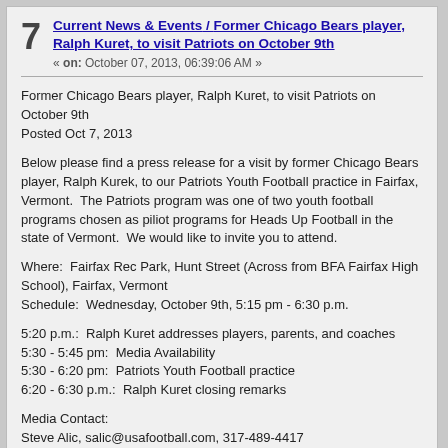Current News & Events / Former Chicago Bears player, Ralph Kuret, to visit Patriots on October 9th
« on: October 07, 2013, 06:39:06 AM »
Former Chicago Bears player, Ralph Kuret, to visit Patriots on October 9th
Posted Oct 7, 2013

Below please find a press release for a visit by former Chicago Bears player, Ralph Kurek, to our Patriots Youth Football practice in Fairfax, Vermont.  The Patriots program was one of two youth football programs chosen as piliot programs for Heads Up Football in the state of Vermont.  We would like to invite you to attend.

Where:  Fairfax Rec Park, Hunt Street (Across from BFA Fairfax High School), Fairfax, Vermont
Schedule:  Wednesday, October 9th, 5:15 pm - 6:30 p.m.

5:20 p.m.:  Ralph Kuret addresses players, parents, and coaches
5:30 - 5:45 pm:  Media Availability
5:30 - 6:20 pm:  Patriots Youth Football practice
6:20 - 6:30 p.m.:  Ralph Kuret closing remarks

Media Contact:
Steve Alic, salic@usafootball.com, 317-489-4417
Local Contact:  Katie Ballard, President, Patriots Youth Football, 802-598-3342